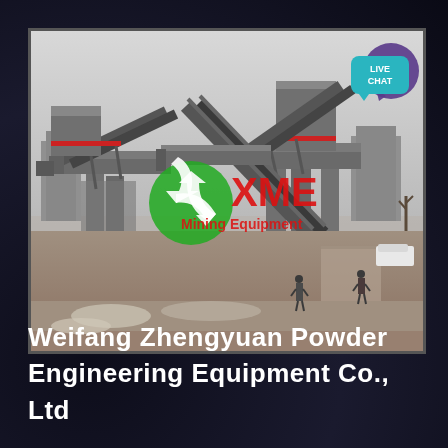[Figure (photo): Industrial mining/quarrying equipment facility showing conveyor belt systems elevated on concrete pillars, with industrial processing structures in the background. XME Mining Equipment logo overlaid in green and red on the photo. Construction site environment with dirt ground visible.]
Weifang Zhengyuan Powder Engineering Equipment Co., Ltd